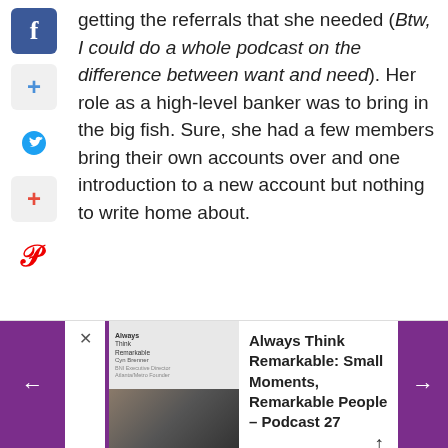getting the referrals that she needed (Btw, I could do a whole podcast on the difference between want and need). Her role as a high-level banker was to bring in the big fish. Sure, she had a few members bring their own accounts over and one introduction to a new account but nothing to write home about.
[Figure (screenshot): Bottom navigation bar showing a podcast episode card: 'Always Think Remarkable: Small Moments, Remarkable People – Podcast 27' with thumbnail images, purple navigation arrows, and a close button.]